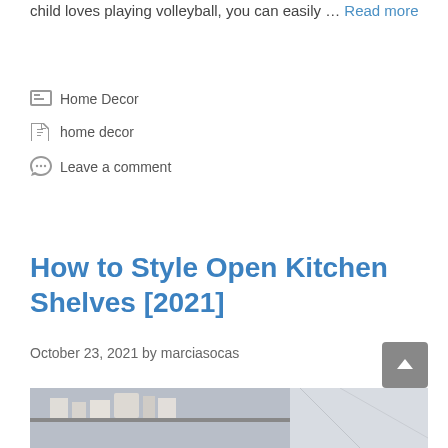child loves playing volleyball, you can easily … Read more
Home Decor
home decor
Leave a comment
How to Style Open Kitchen Shelves [2021]
October 23, 2021 by marciasocas
[Figure (photo): Photo of open kitchen shelves with items arranged on them]